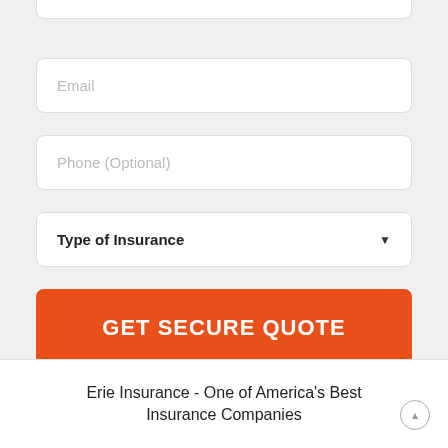[Figure (screenshot): Partial top of a form input field (clipped at top of page)]
Email
Phone (Optional)
Type of Insurance
GET SECURE QUOTE
Erie Insurance - One of America's Best Insurance Companies